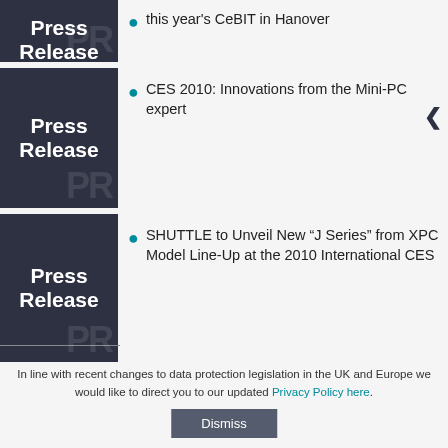this year's CeBIT in Hanover
CES 2010: Innovations from the Mini-PC expert
SHUTTLE to Unveil New “J Series” from XPC Model Line-Up at the 2010 International CES
Launch of Mini-PC complete systems with Windows 7 pre-installed
In line with recent changes to data protection legislation in the UK and Europe we would like to direct you to our updated Privacy Policy here.